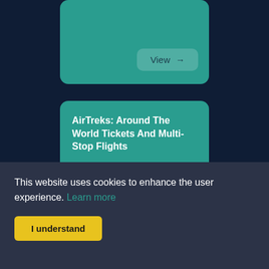[Figure (screenshot): Teal card with a 'View →' button at the bottom right, partially cropped at top]
AirTreks: Around The World Tickets And Multi-Stop Flights
We make round the world travel easier simpler explore routes for...
This website uses cookies to enhance the user experience. Learn more
I understand